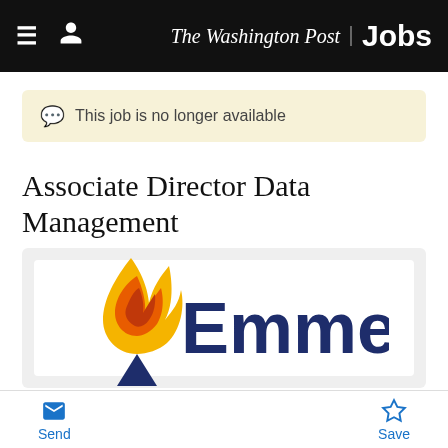The Washington Post Jobs
This job is no longer available
Associate Director Data Management
[Figure (logo): Emmes company logo: flame/torch icon in orange and gold with a dark navy triangular base, next to the word 'Emmes' in large dark navy bold sans-serif text]
Send  Save